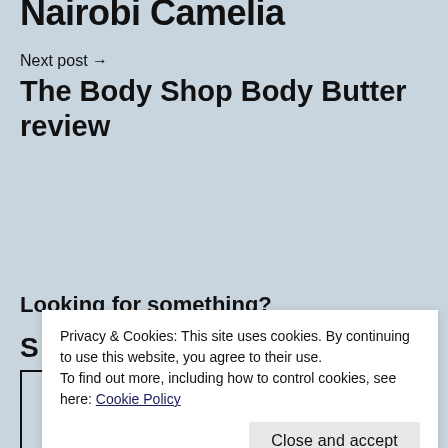Nairobi Camelia
Next post →
The Body Shop Body Butter review
Looking for something?
Privacy & Cookies: This site uses cookies. By continuing to use this website, you agree to their use. To find out more, including how to control cookies, see here: Cookie Policy
Close and accept